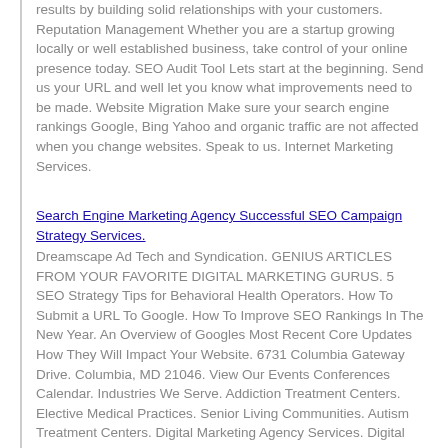results by building solid relationships with your customers. Reputation Management Whether you are a startup growing locally or well established business, take control of your online presence today. SEO Audit Tool Lets start at the beginning. Send us your URL and well let you know what improvements need to be made. Website Migration Make sure your search engine rankings Google, Bing Yahoo and organic traffic are not affected when you change websites. Speak to us. Internet Marketing Services.
Search Engine Marketing Agency Successful SEO Campaign Strategy Services.
Dreamscape Ad Tech and Syndication. GENIUS ARTICLES FROM YOUR FAVORITE DIGITAL MARKETING GURUS. 5 SEO Strategy Tips for Behavioral Health Operators. How To Submit a URL To Google. How To Improve SEO Rankings In The New Year. An Overview of Googles Most Recent Core Updates How They Will Impact Your Website. 6731 Columbia Gateway Drive. Columbia, MD 21046. View Our Events Conferences Calendar. Industries We Serve. Addiction Treatment Centers. Elective Medical Practices. Senior Living Communities. Autism Treatment Centers. Digital Marketing Agency Services. Digital Marketing Agency Services. Digital Brand Management Agency. Custom Website Design. Content Marketing Services. Search Engine Optimization Campaign Services. Pay Per Click Ads Campaign Management. Customer Relationship Management CRM. 360 Virtual Reality Tours. WordPress Website Hosting Services. Online Marketing Resources.
Digital Marketing Services That Produces Results.
Packages Menu Toggle. Our Packages Menu Toggle. SEO packages designed for your